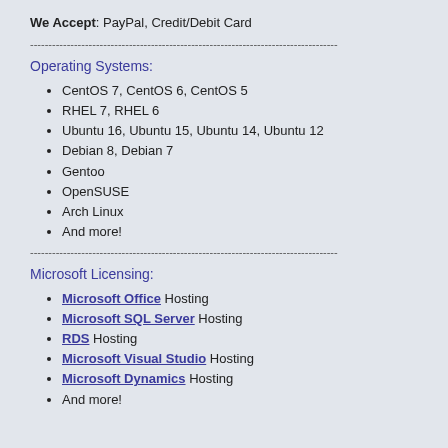We Accept: PayPal, Credit/Debit Card
------------------------------------------------------------------------------------
Operating Systems:
CentOS 7, CentOS 6, CentOS 5
RHEL 7, RHEL 6
Ubuntu 16, Ubuntu 15, Ubuntu 14, Ubuntu 12
Debian 8, Debian 7
Gentoo
OpenSUSE
Arch Linux
And more!
------------------------------------------------------------------------------------
Microsoft Licensing:
Microsoft Office Hosting
Microsoft SQL Server Hosting
RDS Hosting
Microsoft Visual Studio Hosting
Microsoft Dynamics Hosting
And more!